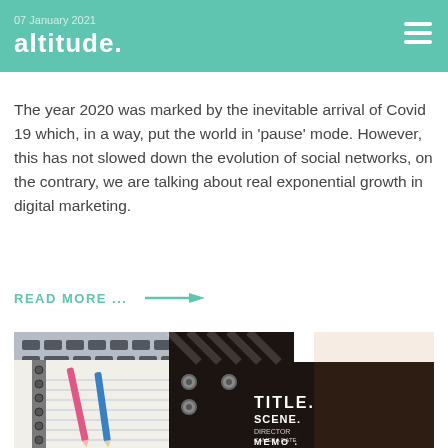altitude.
07 January 2021
trends in 2021
The year 2020 was marked by the inevitable arrival of Covid 19 which, in a way, put the world in 'pause' mode. However, this has not slowed down the evolution of social networks, on the contrary, we are talking about real exponential growth in digital marketing.
READ MORE ...  →
[Figure (photo): Photo of a notebook with spiral binding and two pencils (pink and blue) alongside a film clapperboard showing TITLE, SCENE, MEMO text, with a laptop keyboard in the background.]